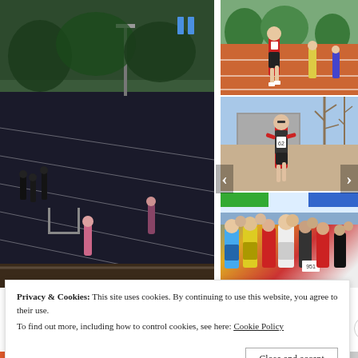[Figure (photo): Large left photo: runners on an outdoor athletics track at night/dusk, with spectators and officials visible, green grass surroundings]
[Figure (photo): Top right photo: male runner in red vest and black shorts on an athletics track, with other runners behind him and green trees in background]
[Figure (photo): Middle right photo: male runner wearing number 62 in black and red vest running in an outdoor race, bare winter trees and building in background]
[Figure (photo): Bottom right photo: large group of runners at start or during a road race, wearing various colored vests including blue, yellow, red and white, number 951 visible]
Privacy & Cookies: This site uses cookies. By continuing to use this website, you agree to their use.
To find out more, including how to control cookies, see here: Cookie Policy